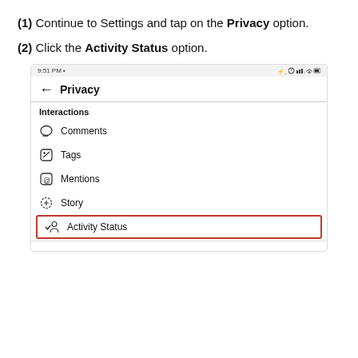(1) Continue to Settings and tap on the Privacy option.
(2) Click the Activity Status option.
[Figure (screenshot): Mobile screenshot showing the TikTok Privacy settings screen with menu items: Interactions section containing Comments, Tags, Mentions, Story, and Activity Status (highlighted with red border). Status bar shows 9:51 PM.]